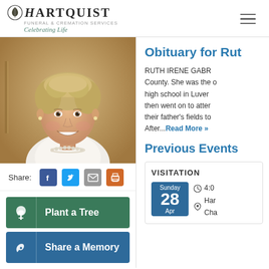[Figure (logo): Hartquist Funeral & Cremation Services logo with leaf icon and 'Celebrating Life' tagline]
[Figure (photo): Portrait photo of a smiling older woman with short blonde/gray hair wearing a white top and pearl necklace]
Share:
Plant a Tree
Share a Memory
Obituary for Rut
RUTH IRENE GABR... County. She was the ... high school in Luver... then went on to atte... their father's fields t... After...Read More »
Previous Events
VISITATION
Sunday 28 Apr
4:00
Har... Cha...